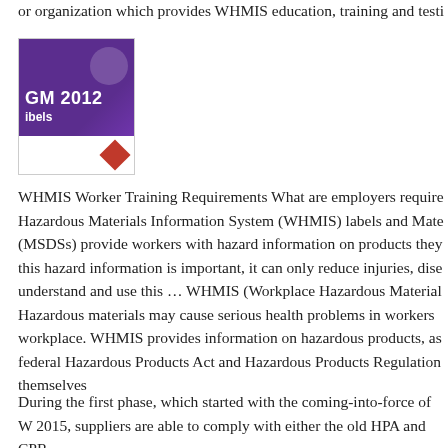or organization which provides WHMIS education, training and testi
[Figure (illustration): Purple/violet background image with white text reading 'GM 2012' and 'ibels', a white circle graphic, and a red diamond hazard symbol at the bottom. Appears to be a WHMIS/GHS labels training material cover image.]
WHMIS Worker Training Requirements What are employers require Hazardous Materials Information System (WHMIS) labels and Mate (MSDSs) provide workers with hazard information on products they this hazard information is important, it can only reduce injuries, dise understand and use this … WHMIS (Workplace Hazardous Material Hazardous materials may cause serious health problems in workers workplace. WHMIS provides information on hazardous products, as federal Hazardous Products Act and Hazardous Products Regulation themselves
During the first phase, which started with the coming-into-force of W 2015, suppliers are able to comply with either the old HPA and CPR